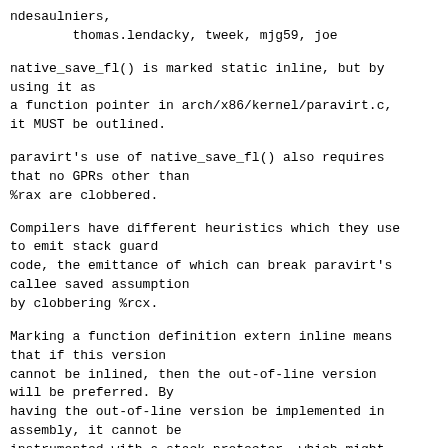ndesaulniers,
        thomas.lendacky, tweek, mjg59, joe
native_save_fl() is marked static inline, but by using it as
a function pointer in arch/x86/kernel/paravirt.c,
it MUST be outlined.
paravirt's use of native_save_fl() also requires that no GPRs other than
%rax are clobbered.
Compilers have different heuristics which they use to emit stack guard
code, the emittance of which can break paravirt's callee saved assumption
by clobbering %rcx.
Marking a function definition extern inline means that if this version
cannot be inlined, then the out-of-line version will be preferred. By
having the out-of-line version be implemented in assembly, it cannot be
instrumented with a stack protector, which might violate custom calling
conventions that code like paravirt rely on.
The semantics of extern inline has changed since gnu89. This means that